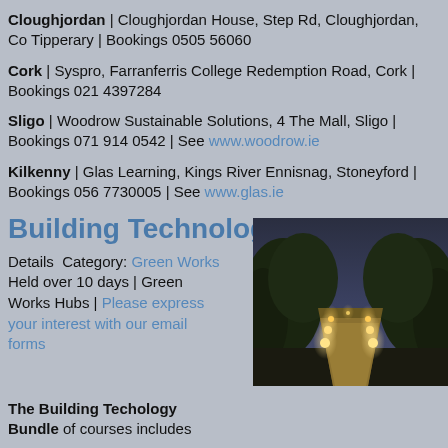Cloughjordan | Cloughjordan House, Step Rd, Cloughjordan, Co Tipperary | Bookings 0505 56060
Cork | Syspro, Farranferris College Redemption Road, Cork | Bookings 021 4397284
Sligo | Woodrow Sustainable Solutions, 4 The Mall, Sligo | Bookings 071 914 0542 | See www.woodrow.ie
Kilkenny | Glas Learning, Kings River Ennisnag, Stoneyford | Bookings 056 7730005 | See www.glas.ie
Building Technology Bundle
Details  Category: Green Works Held over 10 days | Green Works Hubs | Please express your interest with our email forms    Autumn 2010 -
[Figure (photo): Night photo of an illuminated garden pathway with warm lights along the sides, surrounded by dark foliage and shrubs]
The Building Techology Bundle of courses includes